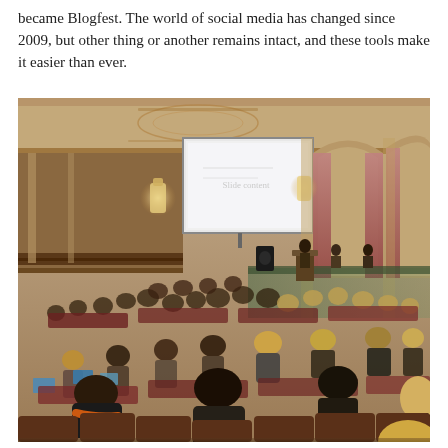became Blogfest. The world of social media has changed since 2009, but one thing or another remains intact, and these tools make it easier than ever.
[Figure (photo): Interior of a grand ballroom conference venue with ornate architecture, arched windows with pink/salmon drapes, decorative ceiling molding, and a large projection screen. Attendees seated at round and rectangular tables face a stage with a speaker at a podium. Green lighting illuminates the stage area. Many attendees have laptops open.]